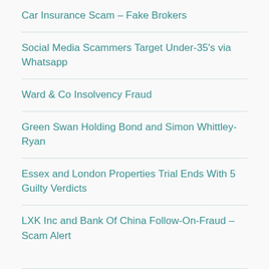Car Insurance Scam – Fake Brokers
Social Media Scammers Target Under-35's via Whatsapp
Ward & Co Insolvency Fraud
Green Swan Holding Bond and Simon Whittley-Ryan
Essex and London Properties Trial Ends With 5 Guilty Verdicts
LXK Inc and Bank Of China Follow-On-Fraud – Scam Alert